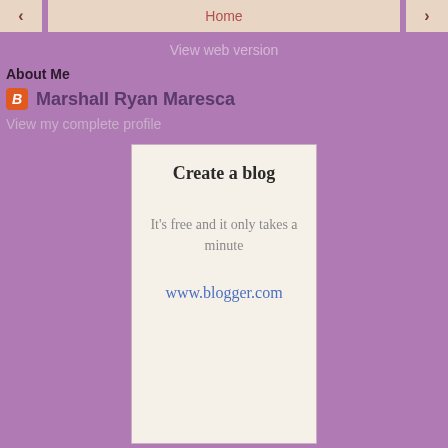< Home >
View web version
About Me
Marshall Ryan Maresca
View my complete profile
[Figure (infographic): Create a blog promotional box with title 'Create a blog', subtext 'It’s free and it only takes a minute', and link 'www.blogger.com']
Powered by Blogger.